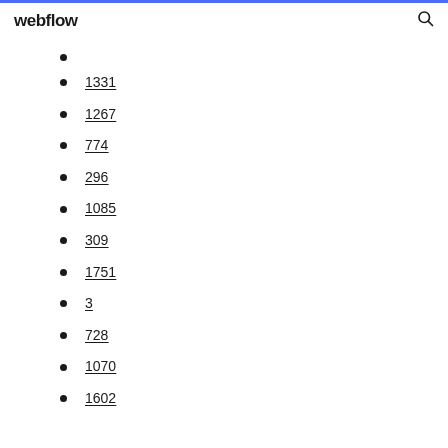webflow
1331
1267
774
296
1085
309
1751
3
728
1070
1602